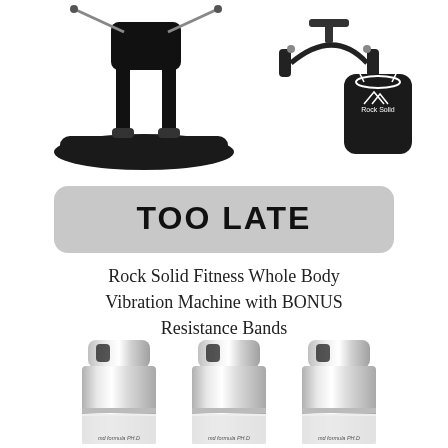[Figure (photo): Vibration platform machine with a person standing on it, and resistance bands with a black carrying bag (Rock Solid brand)]
TOO LATE
Rock Solid Fitness Whole Body Vibration Machine with BONUS Resistance Bands
[Figure (photo): Three silver/white skincare product bottles labeled md formula PH.D]